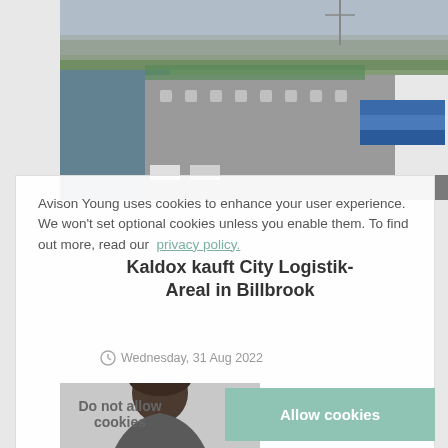[Figure (photo): Aerial view of Kaldox City Logistik-Areal warehouse facility in Billbrook, Hamburg, showing large industrial building next to a waterway with trucks and shipping containers]
Kaldox kauft City Logistik-Areal in Billbrook
Avison Young uses cookies to enhance your user experience. We won't set optional cookies unless you enable them. To find out more, read our privacy policy.
Wednesday, 31 Aug 2022
Do not allow cookies
Allow cookies
[Figure (photo): Partial view of a person's head/face at the bottom of the page]